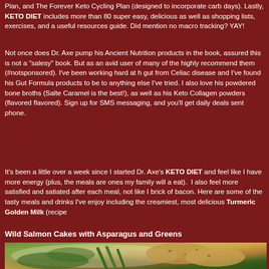Plan, and The Forever Keto Cycling Plan (designed to incorporate carb days). Lastly, KETO DIET includes more than 80 super easy, delicious as well as shopping lists, exercises, and a useful resources guide. Did mention no macro tracking? YAY!
Not once does Dr. Axe pump his Ancient Nutrition products in the book, assured this is not a "salesy" book. But as an avid user of many of the highly recommend them (#notsponsored). I've been working hard at h gut from Celiac disease and I've found his Gut Formula products to be to anything else I've tried. I also love his powdered bone broths (Salte Caramel is the best!), as well as his Keto Collagen powders (flavored flavored). Sign up for SMS messaging, and you'll get daily deals sent phone.
It's been a little over a week since I started Dr. Axe's KETO DIET and feel like I have more energy (plus, the meals are ones my family will a eat). I also feel more satisfied and satiated after each meal, not like I brick of bacon. Here are some of the tasty meals and drinks I've enjoy including the creamiest, most delicious Turmeric Golden Milk (recipe
Wild Salmon Cakes with Asparagus and Greens
[Figure (photo): Photo of wild salmon cakes served with asparagus and mixed greens on a white plate, showing golden-brown salmon patties with herbs and green asparagus spears.]